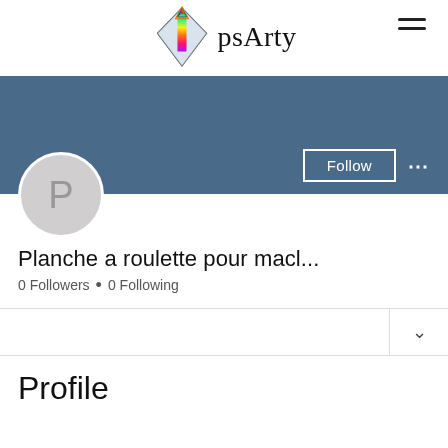[Figure (logo): psArty logo with colorful iceberg/crystal graphic and text 'psArty']
[Figure (screenshot): User profile banner area with blue/steel background, Follow button, and avatar circle with letter P]
Planche a roulette pour macl...
0 Followers • 0 Following
Profile